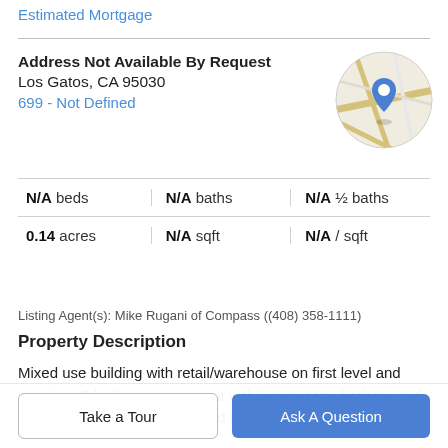Estimated Mortgage
Address Not Available By Request
Los Gatos, CA 95030
699 - Not Defined
[Figure (map): Circular map thumbnail showing a location pin marker on a street map]
| N/A beds | N/A baths | N/A ½ baths |
| 0.14 acres | N/A sqft | N/A / sqft |
Listing Agent(s): Mike Rugani of Compass ((408) 358-1111)
Property Description
Mixed use building with retail/warehouse on first level and spacious 2 bedroom apartment with living room, kitchen, and large balcony above on second level. The retail tenant
Take a Tour
Ask A Question